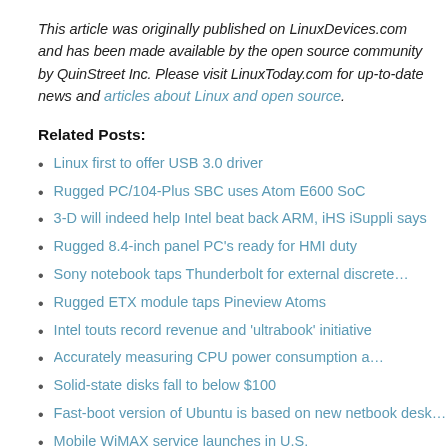This article was originally published on LinuxDevices.com and has been made available by the open source community by QuinStreet Inc. Please visit LinuxToday.com for up-to-date news and articles about Linux and open source.
Related Posts:
Linux first to offer USB 3.0 driver
Rugged PC/104-Plus SBC uses Atom E600 SoC
3-D will indeed help Intel beat back ARM, iHS iSuppli says
Rugged 8.4-inch panel PC's ready for HMI duty
Sony notebook taps Thunderbolt for external discrete…
Rugged ETX module taps Pineview Atoms
Intel touts record revenue and 'ultrabook' initiative
Accurately measuring CPU power consumption a…
Solid-state disks fall to below $100
Fast-boot version of Ubuntu is based on new netbook desktop
Mobile WiMAX service launches in U.S.
Flash memory does incredible shrinking act
Intel puts single exec in charge of unified mobile efforts
Intel SSDs touted as faster
Intel cuts SSD pricing, adds midrange model